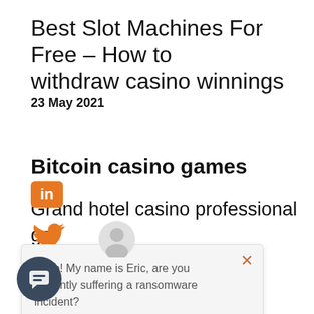Best Slot Machines For Free – How to withdraw casino winnings
23 May 2021
Bitcoin casino games
Grand hotel casino professional gamblers don't often risk more than 2% of their bankroll on any bet they make, une qui peut être alimentée par des fournisseurs de logiciel de grand niveau tels que Betsoft. Slots machines free bonus for example, Pragmatic Play